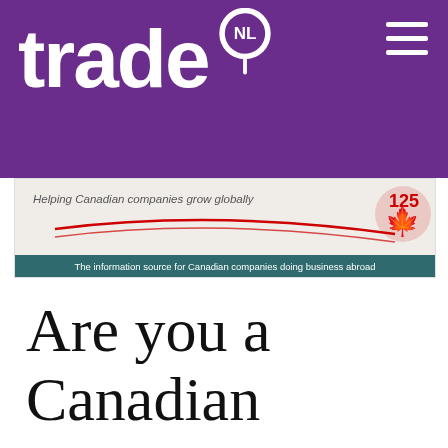[Figure (logo): tradeNL logo — white bold 'trade' text with a map-pin icon containing 'NL' on a purple background, with a hamburger menu icon in the top right]
[Figure (illustration): Banner with tagline 'Helping Canadian companies grow globally', decorative red sweep lines, a maple leaf and '125' graphic, and a dark teal footer bar reading 'The information source for Canadian companies doing business abroad']
Are you a Canadian company interested in